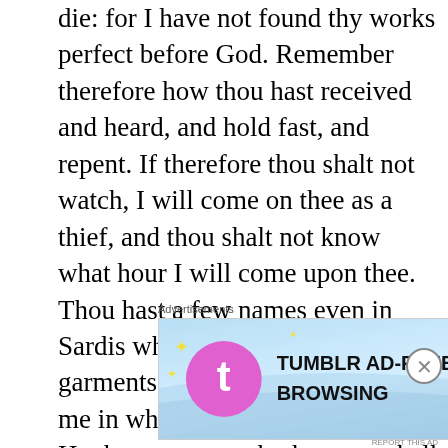die: for I have not found thy works perfect before God. Remember therefore how thou hast received and heard, and hold fast, and repent. If therefore thou shalt not watch, I will come on thee as a thief, and thou shalt not know what hour I will come upon thee. Thou hast a few names even in Sardis which have not defiled their garments; and they shall walk with me in white: for they are worthy. He that overcometh, the same shall be clothed in white raiment; and I will not blot out his name out of the book of life, but I will confess his name before my Father, and before his angels. He that hath an ear, let him hear what the Spirit saith unto the churches.

And to the angel of the church in Philadelphia write; These things saith he that is holy, he that is true, he that hath the key of David, he that openeth, and no man
Advertisements
[Figure (other): Tumblr Ad-Free Browsing advertisement banner showing $39.99 a year or $4.99 a month with Tumblr logo]